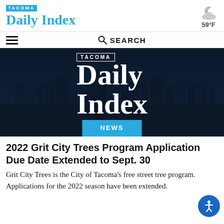TACOMA Daily Index
[Figure (illustration): Weather icon showing partly cloudy night, 59°F]
[Figure (screenshot): Tacoma Daily Index hero banner with aerial city photo and NEWS badge]
2022 Grit City Trees Program Application Due Date Extended to Sept. 30
Grit City Trees is the City of Tacoma's free street tree program. Applications for the 2022 season have been extended.